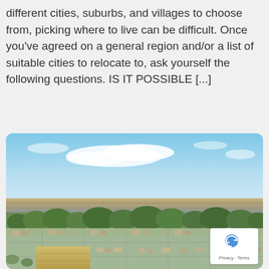different cities, suburbs, and villages to choose from, picking where to live can be difficult. Once you've agreed on a general region and/or a list of suitable cities to relocate to, ask yourself the following questions. IS IT POSSIBLE [...]
[Figure (photo): Aerial photograph of a suburban residential area with trees, houses, open fields, and a flat plain extending to the horizon under a partly cloudy blue sky.]